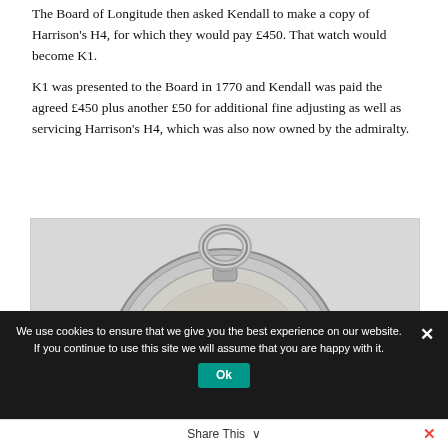The Board of Longitude then asked Kendall to make a copy of Harrison's H4, for which they would pay £450. That watch would become K1.
K1 was presented to the Board in 1770 and Kendall was paid the agreed £450 plus another £50 for additional fine adjusting as well as servicing Harrison's H4, which was also now owned by the admiralty.
[Figure (photo): Photograph of a silver pocket watch (K1 or similar marine chronometer), showing the ornate engraved back case with a large bail ring at the top, photographed against a white background.]
We use cookies to ensure that we give you the best experience on our website. If you continue to use this site we will assume that you are happy with it.
Share This